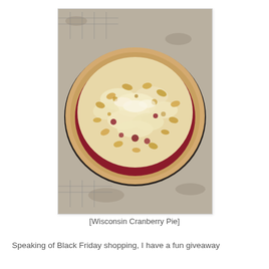[Figure (photo): A Wisconsin Cranberry Pie with crumble topping sitting on a wire cooling rack on a granite countertop. The pie has a golden pastry crust and is topped with a generous layer of white crumble topping with visible cranberry filling peeking through.]
[Wisconsin Cranberry Pie]
Speaking of Black Friday shopping, I have a fun giveaway